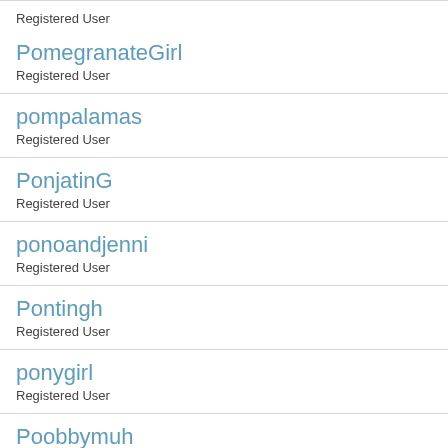Registered User
PomegranateGirl
Registered User
pompalamas
Registered User
PonjatinG
Registered User
ponoandjenni
Registered User
Pontingh
Registered User
ponygirl
Registered User
Poobbymuh
Registered User